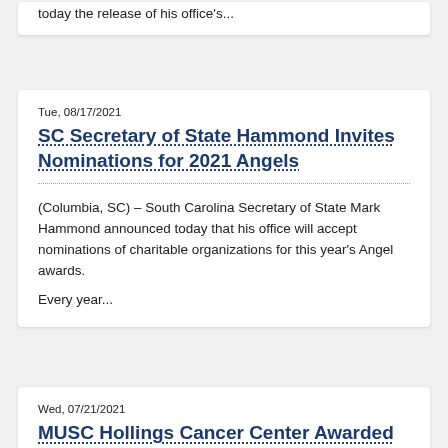today the release of his office's...
Tue, 08/17/2021
SC Secretary of State Hammond Invites Nominations for 2021 Angels
(Columbia, SC) – South Carolina Secretary of State Mark Hammond announced today that his office will accept nominations of charitable organizations for this year's Angel awards.
Every year...
Wed, 07/21/2021
MUSC Hollings Cancer Center Awarded Grant Following Landmark Multistate